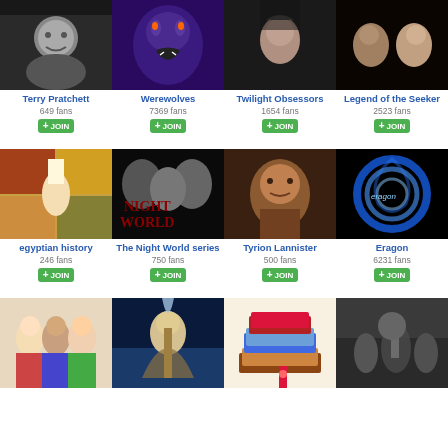[Figure (photo): Terry Pratchett black and white portrait photo]
Terry Pratchett
649 fans
JOIN
[Figure (photo): Werewolves fantasy art - glowing eyed wolf]
Werewolves
7369 fans
JOIN
[Figure (photo): Twilight Obsessors - female character in dark setting]
Twilight Obsessors
1654 fans
JOIN
[Figure (photo): Legend of the Seeker - two characters facing each other]
Legend of the Seeker
2523 fans
JOIN
[Figure (photo): Egyptian history collage artwork]
egyptian history
246 fans
JOIN
[Figure (photo): The Night World series book cover with gothic figures]
The Night World series
750 fans
JOIN
[Figure (photo): Tyrion Lannister close up face photo]
Tyrion Lannister
500 fans
JOIN
[Figure (photo): Eragon blue swirling energy logo on black]
Eragon
6231 fans
JOIN
[Figure (photo): American Girl dolls in period costumes]
[Figure (photo): Fantasy elf warrior illustration]
[Figure (photo): Stack of books illustration]
[Figure (photo): Battle scene in misty landscape]